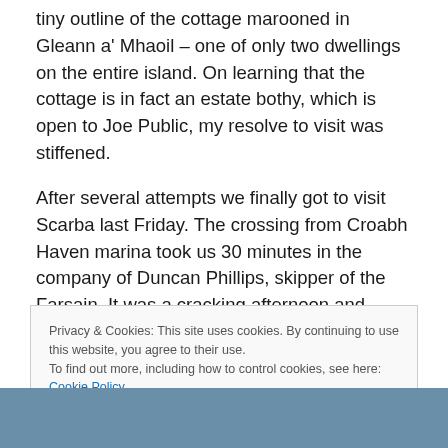tiny outline of the cottage marooned in Gleann a' Mhaoil – one of only two dwellings on the entire island. On learning that the cottage is in fact an estate bothy, which is open to Joe Public, my resolve to visit was stiffened.
After several attempts we finally got to visit Scarba last Friday. The crossing from Croabh Haven marina took us 30 minutes in the company of Duncan Phillips, skipper of the Farsain. It was a cracking afternoon and Duncan checked the forecast for the weekend. The prognosis was exceptionally good. 'You should have a magical weekend',
Privacy & Cookies: This site uses cookies. By continuing to use this website, you agree to their use.
To find out more, including how to control cookies, see here: Cookie Policy
[Figure (photo): Bottom portion of a photograph, appears to show a dark landscape or seascape scene]